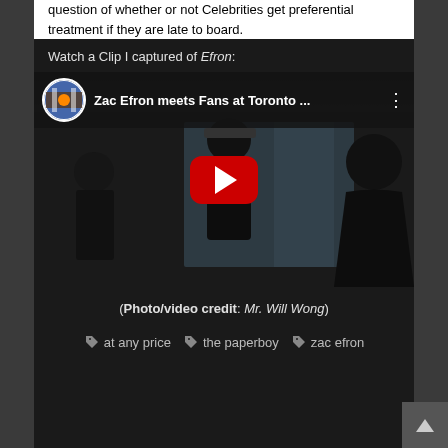question of whether or not Celebrities get preferential treatment if they are late to board.
Watch a Clip I captured of Efron:
[Figure (screenshot): YouTube video embed showing 'Zac Efron meets Fans at Toronto ...' with a dark background image of people in a hallway and a red YouTube play button overlay. A circular thumbnail of a basketball event appears in the header.]
(Photo/video credit: Mr. Will Wong)
at any price   the paperboy   zac efron